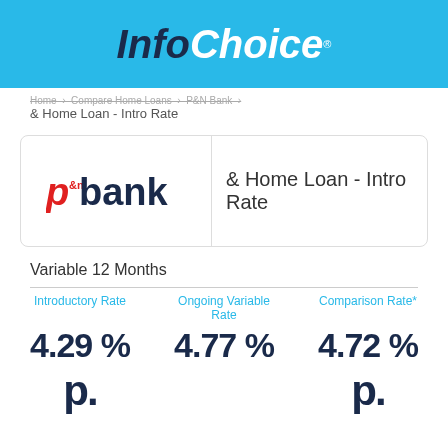InfoChoice
Home > Compare Home Loans > P&N Bank > & Home Loan - Intro Rate
[Figure (logo): P&N Bank logo]
& Home Loan - Intro Rate
Variable 12 Months
| Introductory Rate | Ongoing Variable Rate | Comparison Rate* |
| --- | --- | --- |
| 4.29% | 4.77% | 4.72% |